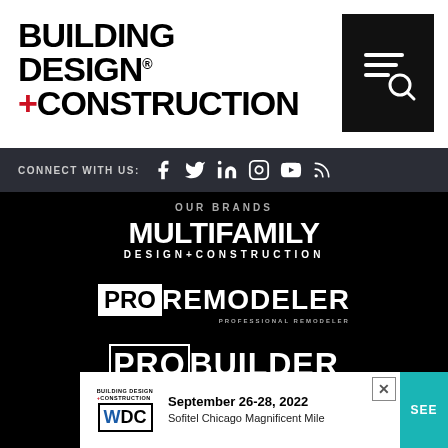BUILDING DESIGN +CONSTRUCTION
[Figure (logo): Search icon on black background]
CONNECT WITH US: [social icons: Facebook, Twitter, LinkedIn, Instagram, YouTube, RSS]
OUR BRANDS
[Figure (logo): MULTIFAMILY DESIGN+CONSTRUCTION logo in white on black]
[Figure (logo): PRO REMODELER / PROFESSIONAL REMODELER logo in white on black]
[Figure (logo): PROBUILDER / PROFESSIONAL BUILDER logo in white on black]
[Figure (infographic): Popup banner: Building Design+Construction WiDC event, September 26-28, 2022, Sofitel Chicago Magnificent Mile, with SEE button]